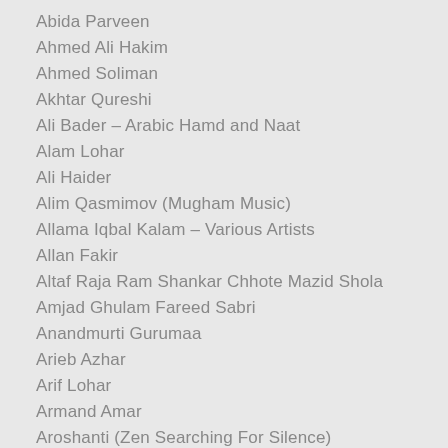Abida Parveen
Ahmed Ali Hakim
Ahmed Soliman
Akhtar Qureshi
Ali Bader – Arabic Hamd and Naat
Alam Lohar
Ali Haider
Alim Qasmimov (Mugham Music)
Allama Iqbal Kalam – Various Artists
Allan Fakir
Altaf Raja Ram Shankar Chhote Mazid Shola
Amjad Ghulam Fareed Sabri
Anandmurti Gurumaa
Arieb Azhar
Arif Lohar
Armand Amar
Aroshanti (Zen Searching For Silence)
Asad Amanat Ali Khan
Ashi (Punjabi Sufi Songs)